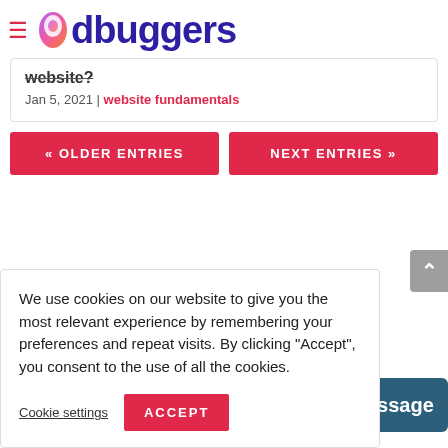6dbuggers
website?
Jan 5, 2021 | website fundamentals
« OLDER ENTRIES
NEXT ENTRIES »
We use cookies on our website to give you the most relevant experience by remembering your preferences and repeat visits. By clicking “Accept”, you consent to the use of all the cookies.
Cookie settings
ACCEPT
Message